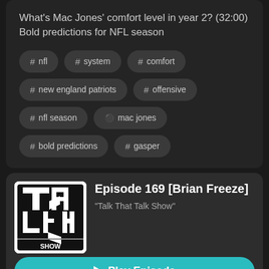What's Mac Jones' comfort level in year 2? (32:00)
Bold predictions for NFL season
# nfl
# system
# comfort
# new england patriots
# offensive
# nfl season
person mac jones
# bold predictions
# gasper
Episode 169 [Brian Freeze]
"Talk That Talk Show"
Play Episode